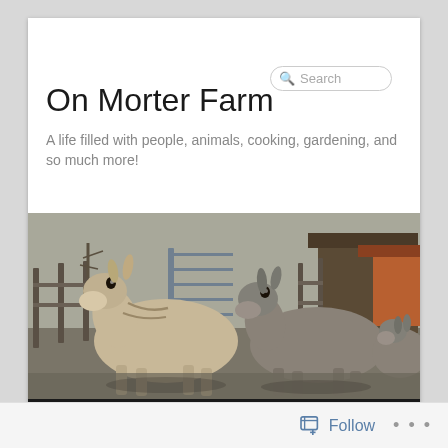Search
On Morter Farm
A life filled with people, animals, cooking, gardening, and so much more!
[Figure (photo): Two donkeys standing in a farm yard with wooden fencing and a barn in the background. The left donkey is lighter in color and faces the camera; the right donkey is darker and also faces the camera.]
Home   About
Follow  ...